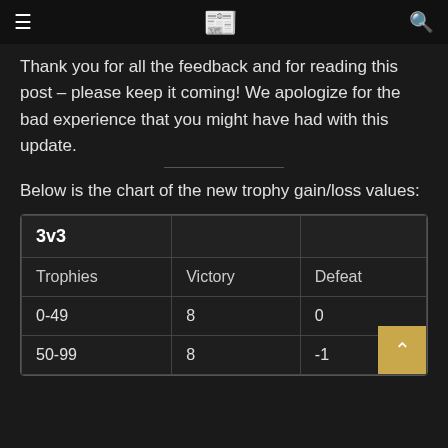≡  📰  🔍
Thank you for all the feedback and for reading this post – please keep it coming! We apologize for the bad experience that you might have had with this update.
Below is the chart of the new trophy gain/loss values:
| 3v3 |  |  |
| --- | --- | --- |
| Trophies | Victory | Defeat |
| 0-49 | 8 | 0 |
| 50-99 | 8 | -1 |